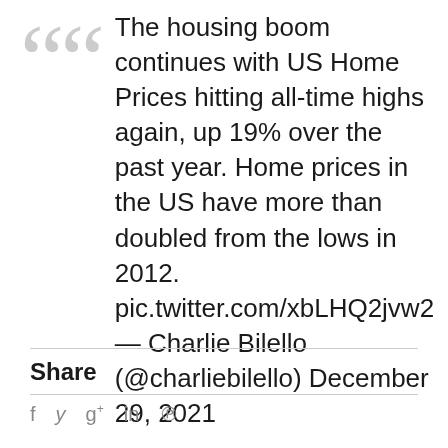The housing boom continues with US Home Prices hitting all-time highs again, up 19% over the past year. Home prices in the US have more than doubled from the lows in 2012. pic.twitter.com/xbLHQ2jvw2 — Charlie Bilello (@charliebilello) December 29, 2021
Share